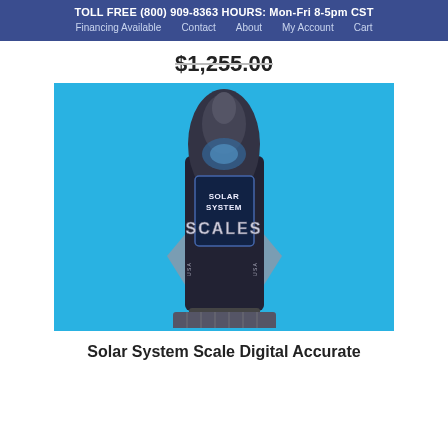TOLL FREE (800) 909-8363 HOURS: Mon-Fri 8-5pm CST
Financing Available  Contact  About  My Account  Cart
$1,255.00
[Figure (photo): Solar System Scale arcade machine shaped like a space shuttle rocket, displayed against a bright blue background. The machine is tall and narrow with a black body, showing 'SOLAR SYSTEM SCALES' text and a platform base.]
Solar System Scale Digital Accurate